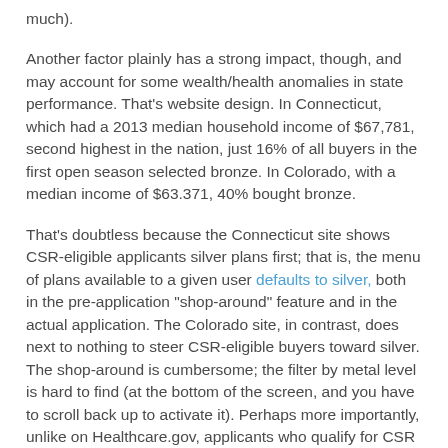much).
Another factor plainly has a strong impact, though, and may account for some wealth/health anomalies in state performance. That's website design. In Connecticut, which had a 2013 median household income of $67,781, second highest in the nation, just 16% of all buyers in the first open season selected bronze. In Colorado, with a median income of $63.371, 40% bought bronze.
That's doubtless because the Connecticut site shows CSR-eligible applicants silver plans first; that is, the menu of plans available to a given user defaults to silver, both in the pre-application "shop-around" feature and in the actual application. The Colorado site, in contrast, does next to nothing to steer CSR-eligible buyers toward silver. The shop-around is cumbersome; the filter by metal level is hard to find (at the bottom of the screen, and you have to scroll back up to activate it). Perhaps more importantly, unlike on Healthcare.gov, applicants who qualify for CSR and make a move to buy a bronze plan receive no warning that they're leaving benefits on the table.